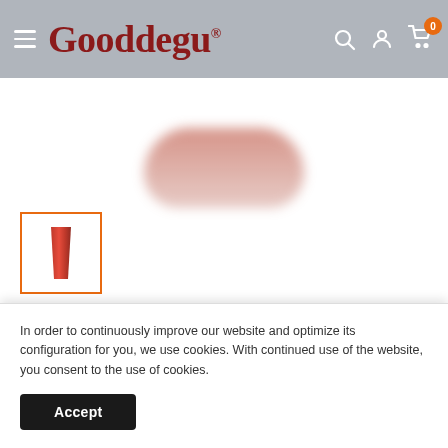Gooddegu [logo/navigation header with hamburger menu, search, account, and cart icons]
[Figure (photo): Red/orange triangular glass tube patio heater cover product image thumbnail with orange border]
AZ Patio Heaters - Triangle Glass Tube Patio Heater Cover in
In order to continuously improve our website and optimize its configuration for you, we use cookies. With continued use of the website, you consent to the use of cookies.
Accept